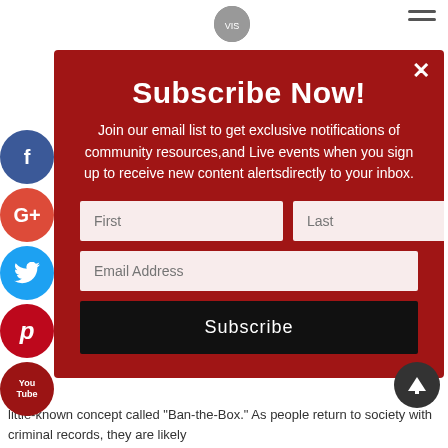Subscribe Now!
Join our email list to get exclusive notifications of community resources,and Live events when you sign up to receive new content alertsdirectly to your inbox.
little-known concept called "Ban-the-Box." As people return to society with criminal records, they are likely